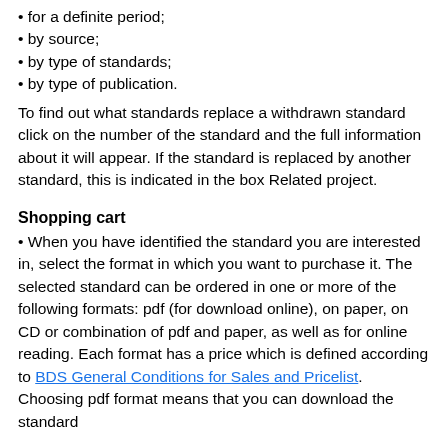• for a definite period;
• by source;
• by type of standards;
• by type of publication.
To find out what standards replace a withdrawn standard click on the number of the standard and the full information about it will appear. If the standard is replaced by another standard, this is indicated in the box Related project.
Shopping cart
• When you have identified the standard you are interested in, select the format in which you want to purchase it. The selected standard can be ordered in one or more of the following formats: pdf (for download online), on paper, on CD or combination of pdf and paper, as well as for online reading. Each format has a price which is defined according to BDS General Conditions for Sales and Pricelist. Choosing pdf format means that you can download the standard through "My orders". You can also visit it at any d...